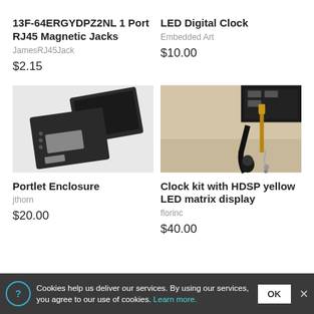13F-64ERGYDPZ2NL 1 Port RJ45 Magnetic Jacks
JamesRJ45Jack
$2.15
LED Digital Clock
Embedded Art
$10.00
[Figure (photo): Black plastic enclosure parts showing two pieces of a small rectangular enclosure with mounting holes and cutouts]
Portlet Enclosure
jthorn
$20.00
[Figure (photo): Close-up photo of a clock kit showing an HDSP yellow LED matrix display module with cables and connectors against a wall]
Clock kit with HDSP yellow LED matrix display
florinc
$40.00
Cookies help us deliver our services. By using our services, you agree to our use of cookies. Learn more. OK